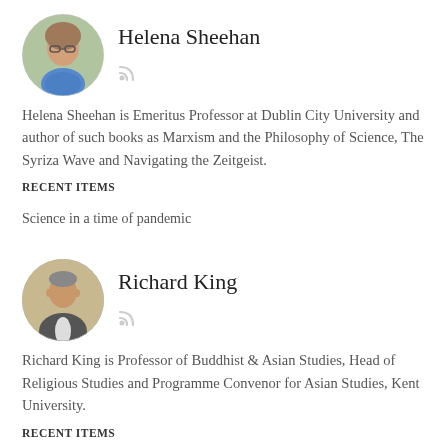[Figure (photo): Circular avatar photo of Helena Sheehan, a woman outdoors in a blue patterned top]
Helena Sheehan
[Figure (other): RSS feed icon]
Helena Sheehan is Emeritus Professor at Dublin City University and author of such books as Marxism and the Philosophy of Science, The Syriza Wave and Navigating the Zeitgeist.
RECENT ITEMS
Science in a time of pandemic
[Figure (photo): Circular avatar photo of Richard King, a man in a suit jacket indoors]
Richard King
[Figure (other): RSS feed icon]
Richard King is Professor of Buddhist & Asian Studies, Head of Religious Studies and Programme Convenor for Asian Studies, Kent University.
RECENT ITEMS
Marxism, Buddhism and socialism